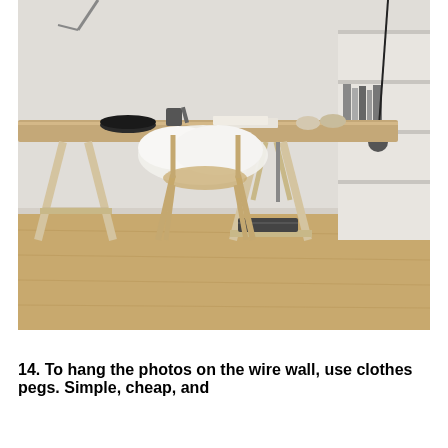[Figure (photo): A minimalist Scandinavian-style home office workspace featuring a wooden trestle desk with sawhorse legs on a light wood floor. On the desk are papers, a bowl, cups, scissors, rolled papers/blueprints, and a fluffy white sheepskin draped over a wooden chair behind the desk. Under the desk crossbar sits a folded dark blanket. On the right side are shelving units with books and items. A lamp cord hangs on the right wall.]
14. To hang the photos on the wire wall, use clothes pegs. Simple, cheap, and